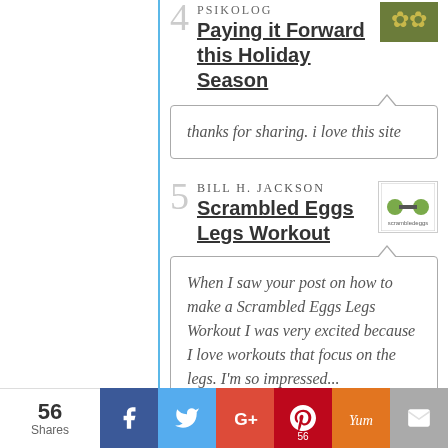Psikolog
Paying it Forward this Holiday Season
thanks for sharing. i love this site
Bill H. Jackson
Scrambled Eggs Legs Workout
When I saw your post on how to make a Scrambled Eggs Legs Workout I was very excited because I love workouts that focus on the legs. I'm so impressed...
56 Shares | Facebook | Twitter | G+ | Pinterest 56 | Yum | Email